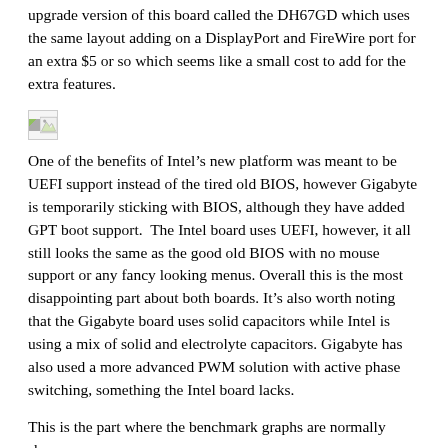upgrade version of this board called the DH67GD which uses the same layout adding on a DisplayPort and FireWire port for an extra $5 or so which seems like a small cost to add for the extra features.
[Figure (photo): Broken/missing image placeholder (small icon with green triangle, indicating an image that failed to load)]
One of the benefits of Intel’s new platform was meant to be UEFI support instead of the tired old BIOS, however Gigabyte is temporarily sticking with BIOS, although they have added GPT boot support.  The Intel board uses UEFI, however, it all still looks the same as the good old BIOS with no mouse support or any fancy looking menus. Overall this is the most disappointing part about both boards. It’s also worth noting that the Gigabyte board uses solid capacitors while Intel is using a mix of solid and electrolyte capacitors. Gigabyte has also used a more advanced PWM solution with active phase switching, something the Intel board lacks.
This is the part where the benchmark graphs are normally shown